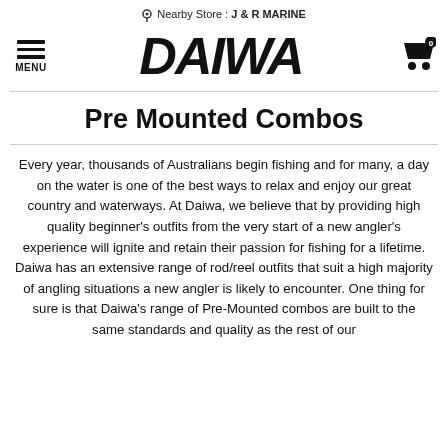Nearby Store : J & R MARINE
[Figure (logo): Daiwa brand logo in bold black angular lettering, with hamburger menu icon and MENU label on left, shopping cart icon with 0 badge on right]
Pre Mounted Combos
Every year, thousands of Australians begin fishing and for many, a day on the water is one of the best ways to relax and enjoy our great country and waterways. At Daiwa, we believe that by providing high quality beginner's outfits from the very start of a new angler's experience will ignite and retain their passion for fishing for a lifetime. Daiwa has an extensive range of rod/reel outfits that suit a high majority of angling situations a new angler is likely to encounter. One thing for sure is that Daiwa's range of Pre-Mounted combos are built to the same standards and quality as the rest of our